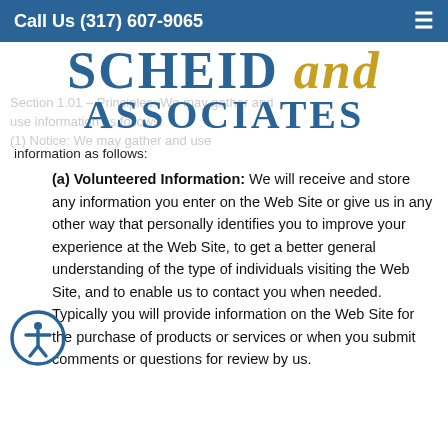Call Us (317) 607-9065
[Figure (logo): Scheid and Associates logo with blue serif text for SCHEID and ASSOCIATES and gold italic text for 'and']
Section 1.01 – Principles: We may gather and use information as follows:
(1) Notice: We may gather and use information as follows:
(a) Volunteered Information: We will receive and store any information you enter on the Web Site or give us in any other way that personally identifies you to improve your experience at the Web Site, to get a better general understanding of the type of individuals visiting the Web Site, and to enable us to contact you when needed. Typically you will provide information on the Web Site for the purchase of products or services or when you submit comments or questions for review by us.